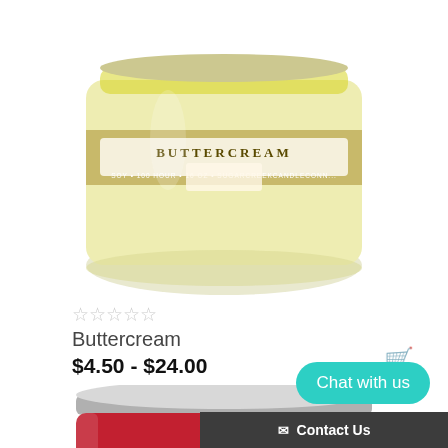[Figure (photo): Top portion of a pale yellow buttercream scented candle jar with gold label reading BUTTERCREAM, partially cropped at top]
☆☆☆☆☆
Buttercream
$4.50 - $24.00
[Figure (photo): A red candle in a clear glass jar with silver lid, labeled Sugar Creek, partially cropped at bottom of page]
Chat with us
Contact Us